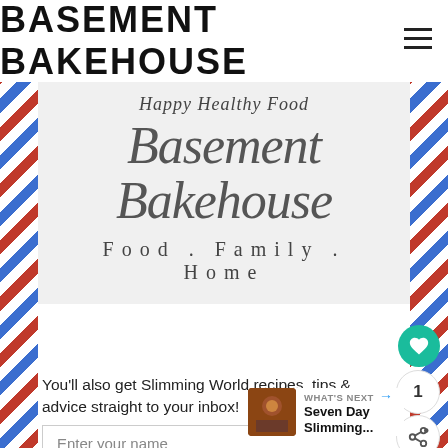BASEMENT BAKEHOUSE
[Figure (logo): Airmail-style envelope card with script text reading 'Happy Healthy Food' then 'Basement Bakehouse' in large italic serif, and 'Food . Family . Home' below]
You'll also get Slimming World recipes, tips & advice straight to your inbox!
Enter your name
Enter your email
WHAT'S NEXT → Seven Day Slimming...